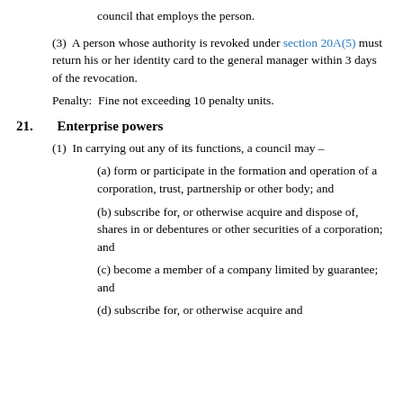(d) specify the council or agent of the council that employs the person.
(3)  A person whose authority is revoked under section 20A(5) must return his or her identity card to the general manager within 3 days of the revocation.
Penalty:  Fine not exceeding 10 penalty units.
21.   Enterprise powers
(1)  In carrying out any of its functions, a council may –
(a) form or participate in the formation and operation of a corporation, trust, partnership or other body; and
(b) subscribe for, or otherwise acquire and dispose of, shares in or debentures or other securities of a corporation; and
(c) become a member of a company limited by guarantee; and
(d) subscribe for, or otherwise acquire and